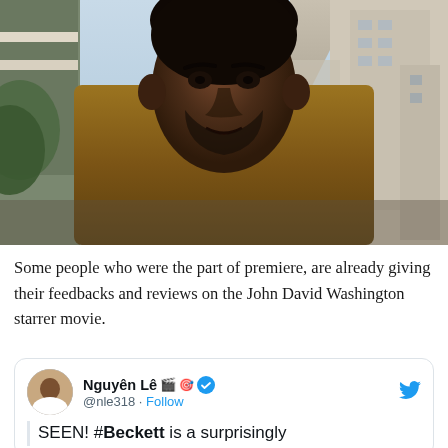[Figure (photo): A man (John David Washington) looking seriously at the camera, wearing a brown/tan jacket over a grey-blue shirt, with a Mediterranean city and mountains in the background. From the movie Beckett.]
Some people who were the part of premiere, are already giving their feedbacks and reviews on the John David Washington starrer movie.
Nguyên Lê 🎬 @nle318 · Follow
SEEN! #Beckett is a surprisingly